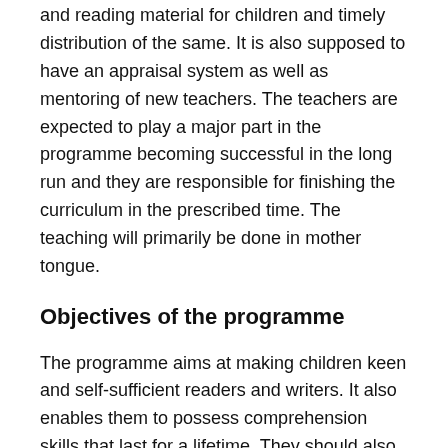and reading material for children and timely distribution of the same. It is also supposed to have an appraisal system as well as mentoring of new teachers. The teachers are expected to play a major part in the programme becoming successful in the long run and they are responsible for finishing the curriculum in the prescribed time. The teaching will primarily be done in mother tongue.
Objectives of the programme
The programme aims at making children keen and self-sufficient readers and writers. It also enables them to possess comprehension skills that last for a lifetime. They should also be educated as per the standards of children in their particular age group. It also helps children understand the basic logic behind phenomena such as number, shapes, and measurement. They should also be able to solve problems by using skills related to understanding of spaces